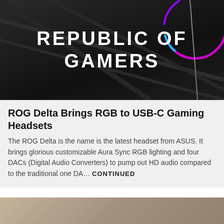[Figure (photo): ASUS Republic of Gamers branding image with dark metallic background and RGB lighting effect. White bold text reads 'REPUBLIC OF GAMERS' with a gaming headset partially visible on the right side.]
ROG Delta Brings RGB to USB-C Gaming Headsets
The ROG Delta is the name is the latest headset from ASUS. It brings glorious customizable Aura Sync RGB lighting and four DACs (Digital Audio Converters) to pump out HD audio compared to the traditional one DA... CONTINUED
[Figure (photo): Photo of an open PC case showing RGB lighting — colorful RAM sticks with rainbow RGB lighting, a CPU cooler with blue fan, and green RGB lighting on side fans, set against a beige/brown background.]